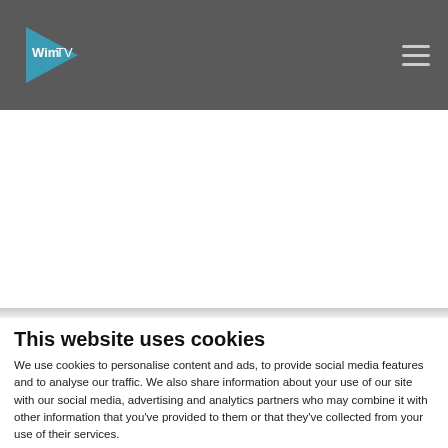[Figure (logo): WimTV logo with teal triangle and white text 'Wim TV' on dark gray navigation bar with hamburger menu icon]
This website uses cookies
We use cookies to personalise content and ads, to provide social media features and to analyse our traffic. We also share information about your use of our site with our social media, advertising and analytics partners who may combine it with other information that you've provided to them or that they've collected from your use of their services.
Deny | Allow selection | Allow all
Necessary  Preferences  Statistics  Marketing  Show details